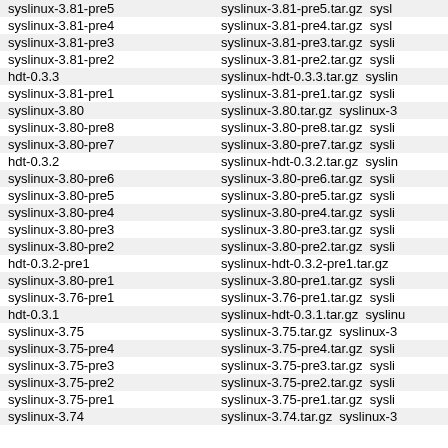| Tag | Files |
| --- | --- |
| syslinux-3.81-pre5 | syslinux-3.81-pre5.tar.gz  sysl… |
| syslinux-3.81-pre4 | syslinux-3.81-pre4.tar.gz  sysl… |
| syslinux-3.81-pre3 | syslinux-3.81-pre3.tar.gz  sysli… |
| syslinux-3.81-pre2 | syslinux-3.81-pre2.tar.gz  sysli… |
| hdt-0.3.3 | syslinux-hdt-0.3.3.tar.gz  syslin… |
| syslinux-3.81-pre1 | syslinux-3.81-pre1.tar.gz  sysli… |
| syslinux-3.80 | syslinux-3.80.tar.gz  syslinux-3… |
| syslinux-3.80-pre8 | syslinux-3.80-pre8.tar.gz  sysli… |
| syslinux-3.80-pre7 | syslinux-3.80-pre7.tar.gz  sysli… |
| hdt-0.3.2 | syslinux-hdt-0.3.2.tar.gz  syslin… |
| syslinux-3.80-pre6 | syslinux-3.80-pre6.tar.gz  sysli… |
| syslinux-3.80-pre5 | syslinux-3.80-pre5.tar.gz  sysli… |
| syslinux-3.80-pre4 | syslinux-3.80-pre4.tar.gz  sysli… |
| syslinux-3.80-pre3 | syslinux-3.80-pre3.tar.gz  sysli… |
| syslinux-3.80-pre2 | syslinux-3.80-pre2.tar.gz  sysli… |
| hdt-0.3.2-pre1 | syslinux-hdt-0.3.2-pre1.tar.gz |
| syslinux-3.80-pre1 | syslinux-3.80-pre1.tar.gz  sysli… |
| syslinux-3.76-pre1 | syslinux-3.76-pre1.tar.gz  sysli… |
| hdt-0.3.1 | syslinux-hdt-0.3.1.tar.gz  syslinu… |
| syslinux-3.75 | syslinux-3.75.tar.gz  syslinux-3… |
| syslinux-3.75-pre4 | syslinux-3.75-pre4.tar.gz  sysli… |
| syslinux-3.75-pre3 | syslinux-3.75-pre3.tar.gz  sysli… |
| syslinux-3.75-pre2 | syslinux-3.75-pre2.tar.gz  sysli… |
| syslinux-3.75-pre1 | syslinux-3.75-pre1.tar.gz  sysli… |
| syslinux-3.74 | syslinux-3.74.tar.gz  syslinux-3… |